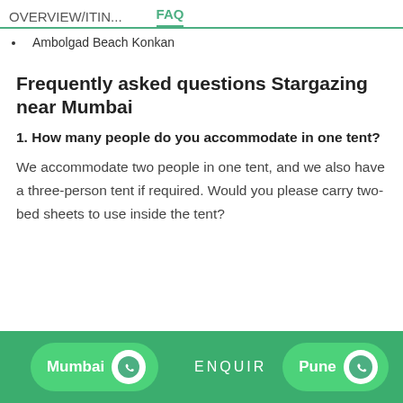OVERVIEW/ITIN...    FAQ
Ambolgad Beach Konkan
Frequently asked questions Stargazing near Mumbai
1. How many people do you accommodate in one tent?
We accommodate two people in one tent, and we also have a three-person tent if required. Would you please carry two-bed sheets to use inside the tent?
Mumbai [WhatsApp] ENQUIR Pune [WhatsApp]